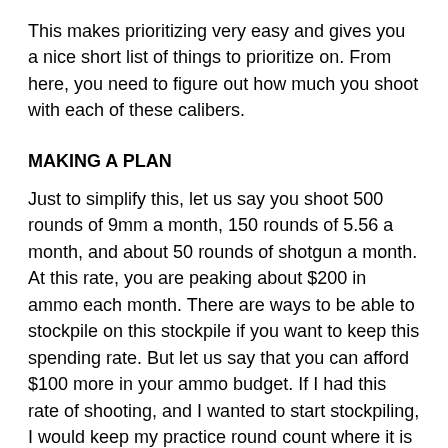This makes prioritizing very easy and gives you a nice short list of things to prioritize on. From here, you need to figure out how much you shoot with each of these calibers.
MAKING A PLAN
Just to simplify this, let us say you shoot 500 rounds of 9mm a month, 150 rounds of 5.56 a month, and about 50 rounds of shotgun a month. At this rate, you are peaking about $200 in ammo each month. There are ways to be able to stockpile on this stockpile if you want to keep this spending rate. But let us say that you can afford $100 more in your ammo budget. If I had this rate of shooting, and I wanted to start stockpiling, I would keep my practice round count where it is while stockpiling in an equal ratio, parallel to my shooting rate. This basically means that i will get for my stockpile, 250 rounds of 9mm, 80 rounds of 5.56, and 25 rounds of shotgun ammo. Depending on the type of ammo you get, the totals may come out to more or less than what your original budget is. You can always roll back the amount you